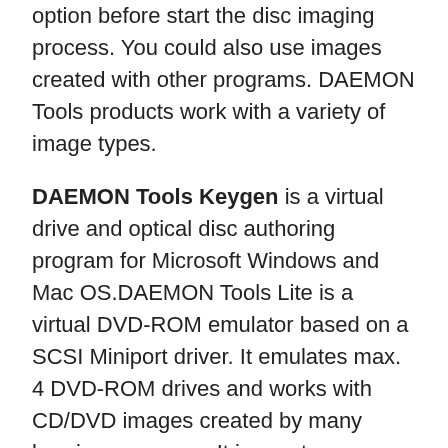option before start the disc imaging process. You could also use images created with other programs. DAEMON Tools products work with a variety of image types.
DAEMON Tools Keygen is a virtual drive and optical disc authoring program for Microsoft Windows and Mac OS.DAEMON Tools Lite is a virtual DVD-ROM emulator based on a SCSI Miniport driver. It emulates max. 4 DVD-ROM drives and works with CD/DVD images created by many burning programs. It is great on notebooks without a physical CD-/DVD-ROM drive or to save Akko power and speed up CD/DVD access. Professional software with a classic interface. Since the 2000s, DAEMON Tools Pro is known as powerful and professional emulation software to work with disc images and virtual drives. Times change, but DAEMON